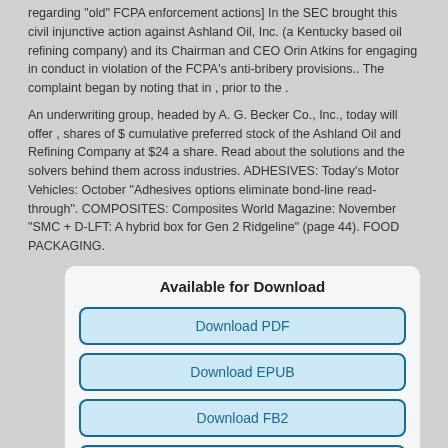regarding "old" FCPA enforcement actions] In the SEC brought this civil injunctive action against Ashland Oil, Inc. (a Kentucky based oil refining company) and its Chairman and CEO Orin Atkins for engaging in conduct in violation of the FCPA's anti-bribery provisions.. The complaint began by noting that in , prior to the .
An underwriting group, headed by A. G. Becker Co., Inc., today will offer , shares of $ cumulative preferred stock of the Ashland Oil and Refining Company at $24 a share. Read about the solutions and the solvers behind them across industries. ADHESIVES: Today's Motor Vehicles: October "Adhesives options eliminate bond-line read-through". COMPOSITES: Composites World Magazine: November "SMC + D-LFT: A hybrid box for Gen 2 Ridgeline" (page 44). FOOD PACKAGING.
Available for Download
Download PDF
Download EPUB
Download FB2
Download MOBI